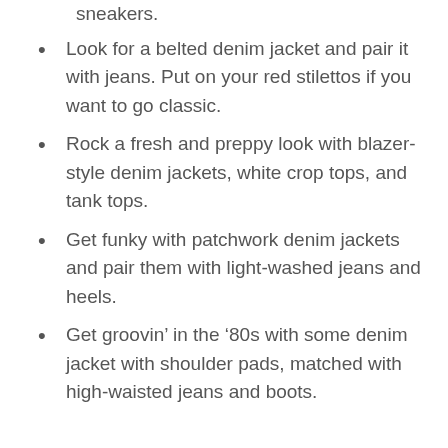sneakers.
Look for a belted denim jacket and pair it with jeans. Put on your red stilettos if you want to go classic.
Rock a fresh and preppy look with blazer-style denim jackets, white crop tops, and tank tops.
Get funky with patchwork denim jackets and pair them with light-washed jeans and heels.
Get groovin’ in the ‘80s with some denim jacket with shoulder pads, matched with high-waisted jeans and boots.